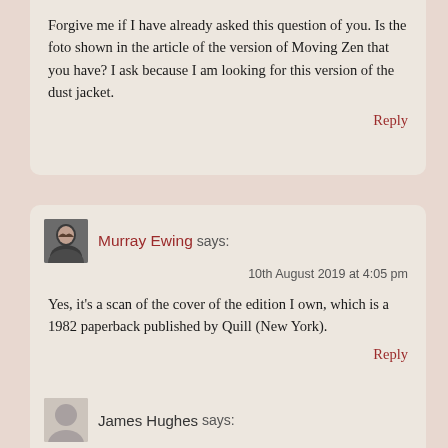Forgive me if I have already asked this question of you. Is the foto shown in the article of the version of Moving Zen that you have? I ask because I am looking for this version of the dust jacket.
Reply
Murray Ewing says:
10th August 2019 at 4:05 pm
Yes, it's a scan of the cover of the edition I own, which is a 1982 paperback published by Quill (New York).
Reply
James Hughes says: